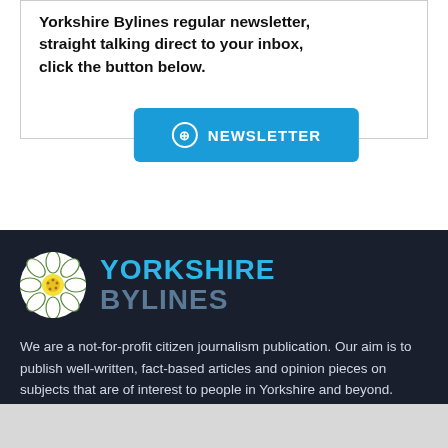Yorkshire Bylines regular newsletter, straight talking direct to your inbox, click the button below.
[Figure (other): Blue NEWSLETTER button with circle-arrow icon]
[Figure (logo): Yorkshire Bylines logo: white Yorkshire rose flower icon with YORKSHIRE BYLINES text in blue/grey]
We are a not-for-profit citizen journalism publication. Our aim is to publish well-written, fact-based articles and opinion pieces on subjects that are of interest to people in Yorkshire and beyond.